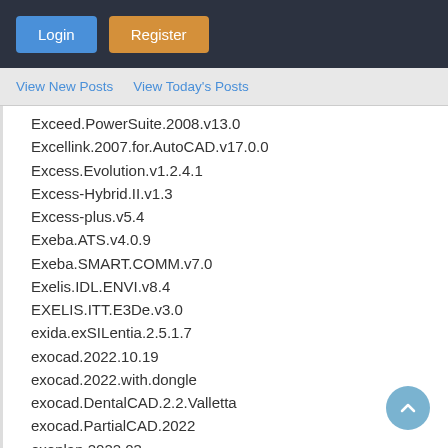Login  Register
View New Posts   View Today's Posts
Exceed.PowerSuite.2008.v13.0
Excellink.2007.for.AutoCAD.v17.0.0
Excess.Evolution.v1.2.4.1
Excess-Hybrid.II.v1.3
Excess-plus.v5.4
Exeba.ATS.v4.0.9
Exeba.SMART.COMM.v7.0
Exelis.IDL.ENVI.v8.4
EXELIS.ITT.E3De.v3.0
exida.exSILentia.2.5.1.7
exocad.2022.10.19
exocad.2022.with.dongle
exocad.DentalCAD.2.2.Valletta
exocad.PartialCAD.2022
exoplan.2022.03
ExpertLCD.3D.2022
Express.Digital.Photo.Package.and.Print.v8.51